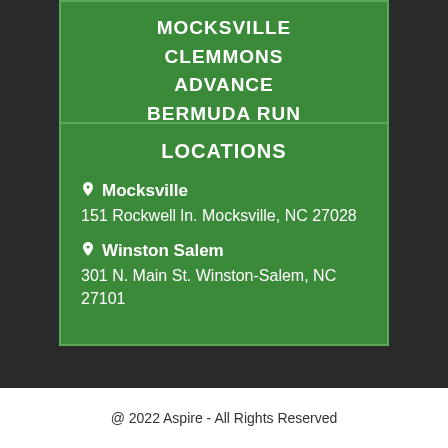MOCKSVILLE
CLEMMONS
ADVANCE
BERMUDA RUN
LOCATIONS
📍 Mocksville
151 Rockwell ln. Mocksville, NC 27028
📍 Winston Salem
301 N. Main St. Winston-Salem, NC 27101
@ 2022 Aspire - All Rights Reserved